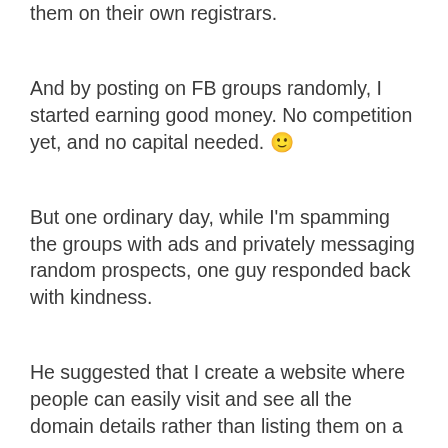them on their own registrars.
And by posting on FB groups randomly, I started earning good money. No competition yet, and no capital needed. 🙂
But one ordinary day, while I'm spamming the groups with ads and privately messaging random prospects, one guy responded back with kindness.
He suggested that I create a website where people can easily visit and see all the domain details rather than listing them on a